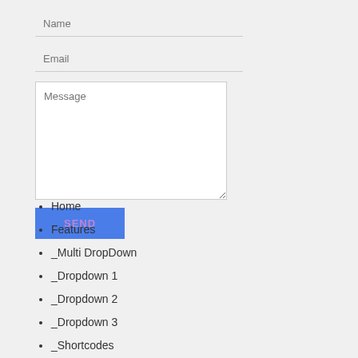[Figure (screenshot): Web contact form with Name input, Email input, Message textarea, and a blue SEND button]
Home
Features
_Multi DropDown
__Dropdown 1
__Dropdown 2
__Dropdown 3
_Shortcodes
_Sitemap
_Error Page
Seo Services